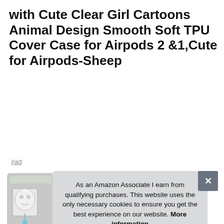with Cute Clear Girl Cartoons Animal Design Smooth Soft TPU Cover Case for Airpods 2 &1,Cute for Airpods-Sheep
#ad
[Figure (photo): Four product images showing AirPods cases with cute cartoon sheep design]
As an Amazon Associate I earn from qualifying purchases. This website uses the only necessary cookies to ensure you get the best experience on our website. More information
Own... earp... of th... and disassemble the headphone case.